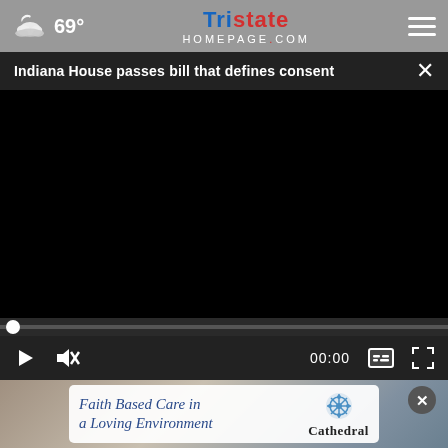69° TristateHomepage.com
Indiana House passes bill that defines consent
[Figure (screenshot): Black video player with scrubber and playback controls showing 00:00]
[Figure (photo): Advertisement banner reading 'Faith Based Care in a Loving Environment' with Cathedral logo, overlaid on a background photo of a caregiver with an elderly patient]